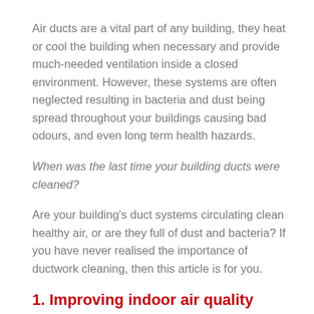Air ducts are a vital part of any building, they heat or cool the building when necessary and provide much-needed ventilation inside a closed environment. However, these systems are often neglected resulting in bacteria and dust being spread throughout your buildings causing bad odours, and even long term health hazards.
When was the last time your building ducts were cleaned?
Are your building's duct systems circulating clean healthy air, or are they full of dust and bacteria? If you have never realised the importance of ductwork cleaning, then this article is for you.
1. Improving indoor air quality